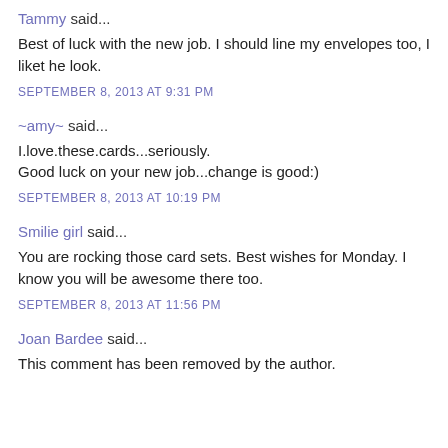Tammy said...
Best of luck with the new job. I should line my envelopes too, I liket he look.
SEPTEMBER 8, 2013 AT 9:31 PM
~amy~ said...
I.love.these.cards...seriously.
Good luck on your new job...change is good:)
SEPTEMBER 8, 2013 AT 10:19 PM
Smilie girl said...
You are rocking those card sets. Best wishes for Monday. I know you will be awesome there too.
SEPTEMBER 8, 2013 AT 11:56 PM
Joan Bardee said...
This comment has been removed by the author.